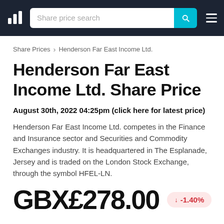Share price search
Share Prices > Henderson Far East Income Ltd.
Henderson Far East Income Ltd. Share Price
August 30th, 2022 04:25pm (click here for latest price)
Henderson Far East Income Ltd. competes in the Finance and Insurance sector and Securities and Commodity Exchanges industry. It is headquartered in The Esplanade, Jersey and is traded on the London Stock Exchange, through the symbol HFEL-LN.
GBX£278.00  ↓ -1.40%